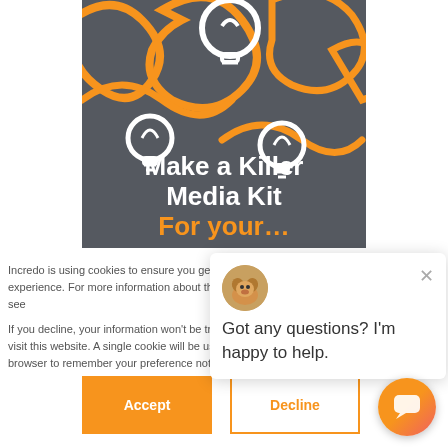[Figure (illustration): Dark gray hero card with orange and white doodle lightbulbs and squiggles on the background, with bold white and orange text reading 'Make a Killer Media Kit For your...']
Incredo is using cookies to ensure you get a solid browsing experience. For more information about the cookies we use, see
If you decline, your information won't be tracked when you visit this website. A single cookie will be used in your browser to remember your preference not to be tracked.
Got any questions? I'm happy to help.
[Figure (screenshot): Accept button (orange filled) and Decline button (orange outline) for cookie consent, plus a chat widget button (orange/pink gradient circle with speech bubble icon) in bottom right corner.]